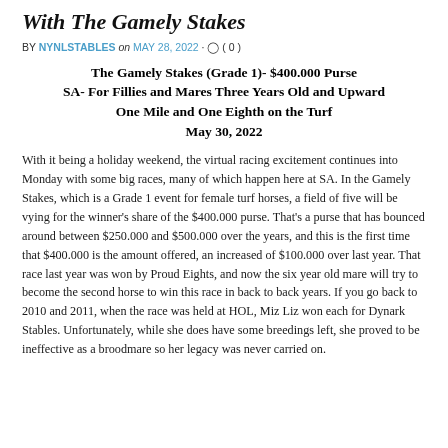With The Gamely Stakes
BY NYNLSTABLES on MAY 28, 2022 · (0)
The Gamely Stakes (Grade 1)- $400.000 Purse SA- For Fillies and Mares Three Years Old and Upward One Mile and One Eighth on the Turf May 30, 2022
With it being a holiday weekend, the virtual racing excitement continues into Monday with some big races, many of which happen here at SA. In the Gamely Stakes, which is a Grade 1 event for female turf horses, a field of five will be vying for the winner's share of the $400.000 purse. That's a purse that has bounced around between $250.000 and $500.000 over the years, and this is the first time that $400.000 is the amount offered, an increased of $100.000 over last year. That race last year was won by Proud Eights, and now the six year old mare will try to become the second horse to win this race in back to back years. If you go back to 2010 and 2011, when the race was held at HOL, Miz Liz won each for Dynark Stables. Unfortunately, while she does have some breedings left, she proved to be ineffective as a broodmare so her legacy was never carried on.